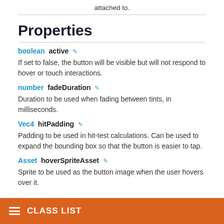attached to.
Properties
boolean  active  ✏
If set to false, the button will be visible but will not respond to hover or touch interactions.
number  fadeDuration  ✏
Duration to be used when fading between tints, in milliseconds.
Vec4  hitPadding  ✏
Padding to be used in hit-test calculations. Can be used to expand the bounding box so that the button is easier to tap.
Asset  hoverSpriteAsset  ✏
Sprite to be used as the button image when the user hovers over it.
CLASS LIST